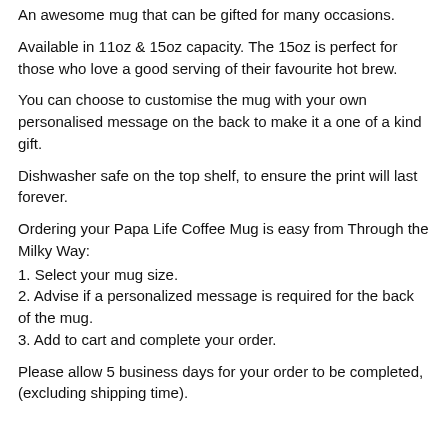An awesome mug that can be gifted for many occasions.
Available in 11oz & 15oz capacity. The 15oz is perfect for those who love a good serving of their favourite hot brew.
You can choose to customise the mug with your own personalised message on the back to make it a one of a kind gift.
Dishwasher safe on the top shelf, to ensure the print will last forever.
Ordering your Papa Life Coffee Mug is easy from Through the Milky Way:
1. Select your mug size.
2. Advise if a personalized message is required for the back of the mug.
3. Add to cart and complete your order.
Please allow 5 business days for your order to be completed, (excluding shipping time).